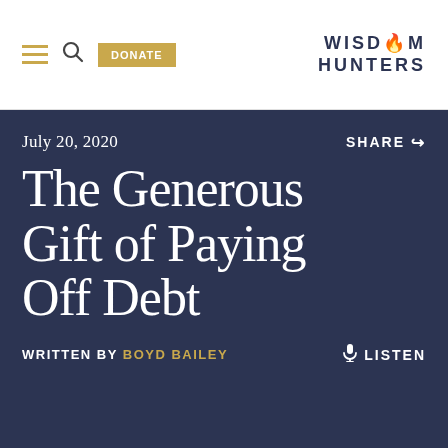DONATE | WISDOM HUNTERS
July 20, 2020
SHARE
The Generous Gift of Paying Off Debt
WRITTEN BY BOYD BAILEY
LISTEN